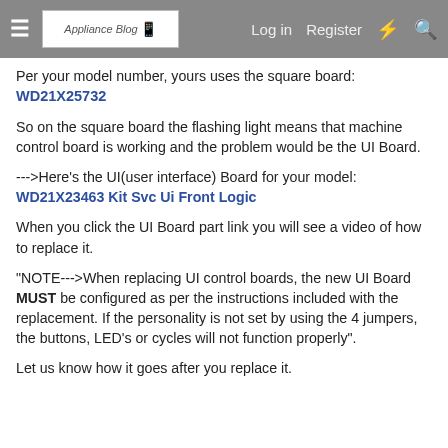Navigation bar with hamburger menu, logo, Log in, Register, and icon buttons
Per your model number, yours uses the square board:
WD21X25732
So on the square board the flashing light means that machine control board is working and the problem would be the UI Board.
--->Here's the UI(user interface) Board for your model:
WD21X23463 Kit Svc Ui Front Logic
When you click the UI Board part link you will see a video of how to replace it.
"NOTE--->When replacing UI control boards, the new UI Board MUST be configured as per the instructions included with the replacement. If the personality is not set by using the 4 jumpers, the buttons, LED's or cycles will not function properly".
Let us know how it goes after you replace it.